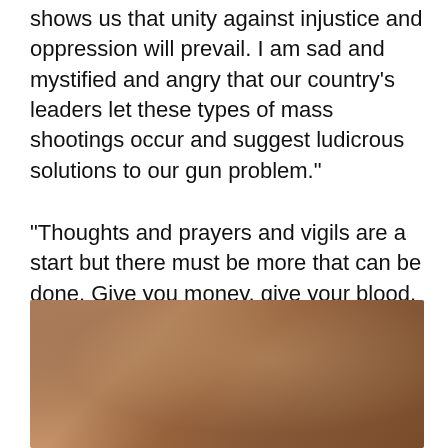shows us that unity against injustice and oppression will prevail. I am sad and mystified and angry that our country's leaders let these types of mass shootings occur and suggest ludicrous solutions to our gun problem."
"Thoughts and prayers and vigils are a start but there must be more that can be done. Give you money, give your blood, give your vote, and give your elected officials a piece of your mind. But don't give up," said Mayor Hagerty.
[Figure (photo): Blurred brownish photo, likely showing a person or scene related to the article context.]